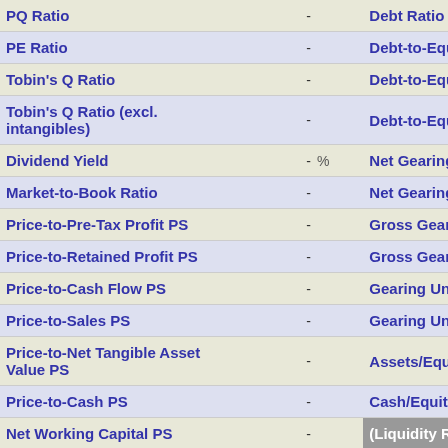| Metric | Value | Unit | Metric (right) |
| --- | --- | --- | --- |
| PQ Ratio | - |  | Debt Ratio |
| PE Ratio | - |  | Debt-to-Equity |
| Tobin's Q Ratio | - |  | Debt-to-Equity |
| Tobin's Q Ratio (excl. intangibles) | - |  | Debt-to-Equity |
| Dividend Yield | - | % | Net Gearing |
| Market-to-Book Ratio | - |  | Net Gearing (ex |
| Price-to-Pre-Tax Profit PS | - |  | Gross Gearing |
| Price-to-Retained Profit PS | - |  | Gross Gearing |
| Price-to-Cash Flow PS | - |  | Gearing Under |
| Price-to-Sales PS | - |  | Gearing Under |
| Price-to-Net Tangible Asset Value PS | - |  | Assets/Equity |
| Price-to-Cash PS | - |  | Cash/Equity |
| Net Working Capital PS | - |  | (Liquidity Ratio |
| Price Pct to Working Capital PS | - | % | Net Working Ca |
| Earnings Yield | - | % | Current Ratio |
| Average PE |  |  | Quick Ratio (A |